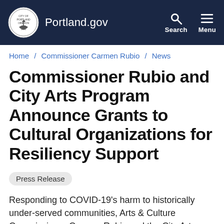Portland.gov
Home / Commissioner Carmen Rubio / News
Commissioner Rubio and City Arts Program Announce Grants to Cultural Organizations for Resiliency Support
Press Release
Responding to COVID-19’s harm to historically under-served communities, Arts & Culture Commissioner Carmen Rubio and the City Arts